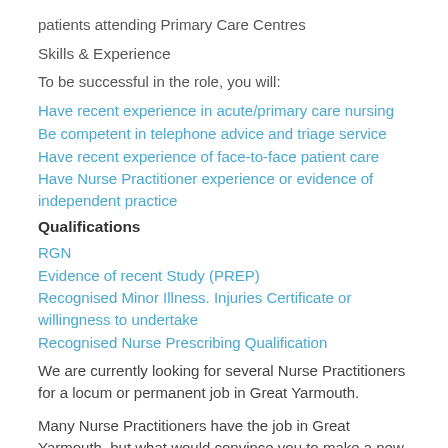patients attending Primary Care Centres
Skills & Experience
To be successful in the role, you will:
Have recent experience in acute/primary care nursing
Be competent in telephone advice and triage service
Have recent experience of face-to-face patient care
Have Nurse Practitioner experience or evidence of independent practice
Qualifications
RGN
Evidence of recent Study (PREP)
Recognised Minor Illness. Injuries Certificate or willingness to undertake
Recognised Nurse Prescribing Qualification
We are currently looking for several Nurse Practitioners for a locum or permanent job in Great Yarmouth.
Many Nurse Practitioners have the job in Great Yarmouth, but what would convince you to make a new move? Please call us